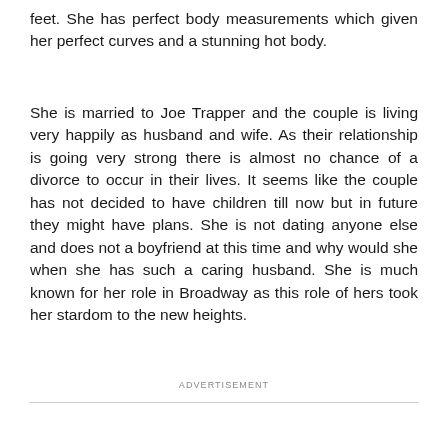feet. She has perfect body measurements which given her perfect curves and a stunning hot body.
She is married to Joe Trapper and the couple is living very happily as husband and wife. As their relationship is going very strong there is almost no chance of a divorce to occur in their lives. It seems like the couple has not decided to have children till now but in future they might have plans. She is not dating anyone else and does not a boyfriend at this time and why would she when she has such a caring husband. She is much known for her role in Broadway as this role of hers took her stardom to the new heights.
ADVERTISEMENT